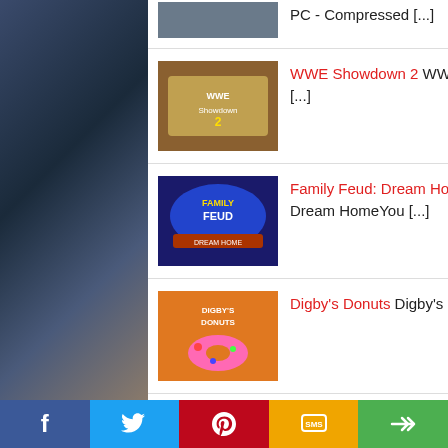PC - Compressed [...]
WWE Showdown 2 WWE Showdown 2 Game – Overview – Free Download – Compressed – [...]
Family Feud: Dream Home Family Feud 3: Dream Home Video Game DownloadFamily Feud: Dream HomeYou [...]
Digby's Donuts Digby's Donuts (Video Game) DownloadDigby's DonutsMinimum System [...]
Helpful Links!
How to Download a Game?
Facebook | Twitter | Pinterest | SMS | Share